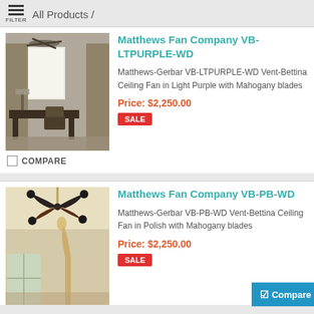All Products /
[Figure (photo): Interior room photo showing a ceiling fan above a hotel-style workspace with dark furniture and curtains]
Matthews Fan Company VB-LTPURPLE-WD
Matthews-Gerbar VB-LTPURPLE-WD Vent-Bettina Ceiling Fan in Light Purple with Mahogany blades
Price: $2,250.00
SALE
COMPARE
[Figure (photo): Interior room photo showing a decorative ceiling fan with dark curved blades resembling an exotic bird, mounted in a room with large windows]
Matthews Fan Company VB-PB-WD
Matthews-Gerbar VB-PB-WD Vent-Bettina Ceiling Fan in Polish with Mahogany blades
Price: $2,250.00
SALE
Compare